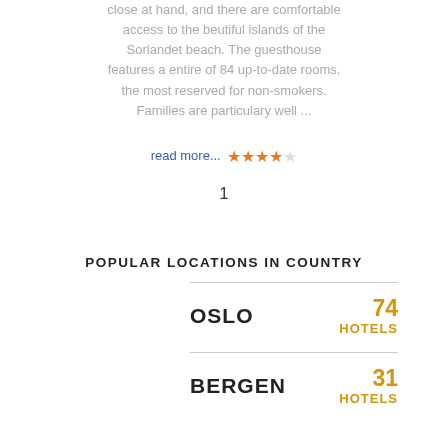close at hand, and there are comfortable access to the beutiful islands of the Sorlandet beach. The guesthouse features a entire of 84 up-to-date rooms, the most reserved for non-smokers. Families are particulary well ...
read more... ★★★★☆
1
POPULAR LOCATIONS IN COUNTRY
OSLO 74 HOTELS
BERGEN 31 HOTELS
STAVANGER 25 HOTELS
TRONDHEIM 20 HOTELS